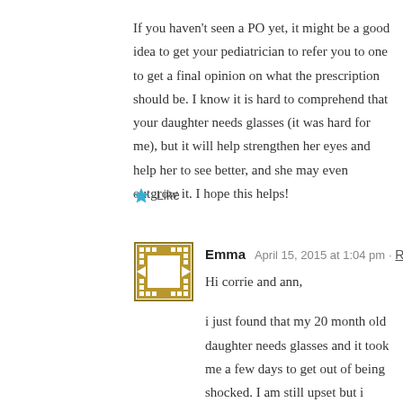If you haven't seen a PO yet, it might be a good idea to get your pediatrician to refer you to one to get a final opinion on what the prescription should be. I know it is hard to comprehend that your daughter needs glasses (it was hard for me), but it will help strengthen her eyes and help her to see better, and she may even outgrow it. I hope this helps!
★ Like
Emma   April 15, 2015 at 1:04 pm · Reply —
Hi corrie and ann,
i just found that my 20 month old daughter needs glasses and it took me a few days to get out of being shocked. I am still upset but i chose her glasses yesterday and they will be ready in a couple of days.
i asked the doctor about eye patches, he told me to get her used to glasses then try the patches. She has accomodative